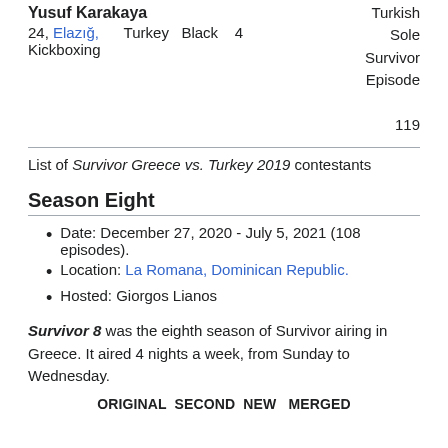| Name | Age/Hometown | Country | Belt | Eps | Result |
| --- | --- | --- | --- | --- | --- |
| Yusuf Karakaya | 24, Elazığ,
Kickboxing | Turkey | Black | 4 | Turkish
Sole
Survivor
Episode
119 |
List of Survivor Greece vs. Turkey 2019 contestants
Season Eight
Date: December 27, 2020 - July 5, 2021 (108 episodes).
Location: La Romana, Dominican Republic.
Hosted: Giorgos Lianos
Survivor 8 was the eighth season of Survivor airing in Greece. It aired 4 nights a week, from Sunday to Wednesday.
| ORIGINAL | SECOND | NEW | MERGED |
| --- | --- | --- | --- |